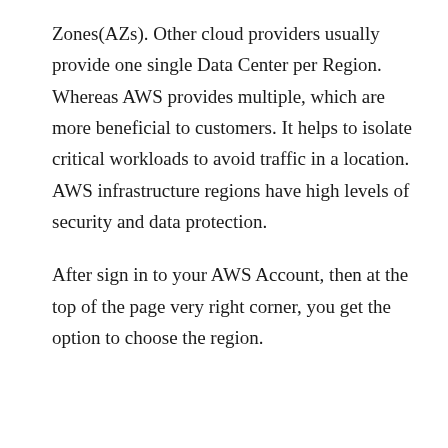Zones(AZs). Other cloud providers usually provide one single Data Center per Region. Whereas AWS provides multiple, which are more beneficial to customers. It helps to isolate critical workloads to avoid traffic in a location. AWS infrastructure regions have high levels of security and data protection.
After sign in to your AWS Account, then at the top of the page very right corner, you get the option to choose the region.